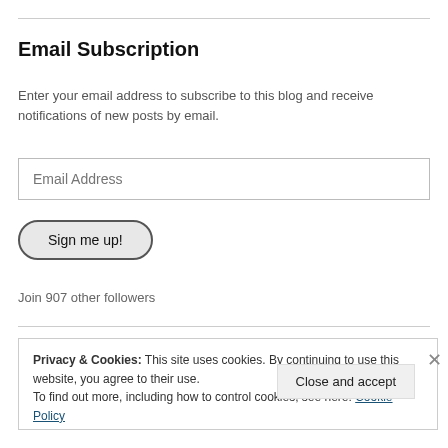Email Subscription
Enter your email address to subscribe to this blog and receive notifications of new posts by email.
Email Address
Sign me up!
Join 907 other followers
Privacy & Cookies: This site uses cookies. By continuing to use this website, you agree to their use. To find out more, including how to control cookies, see here: Cookie Policy
Close and accept